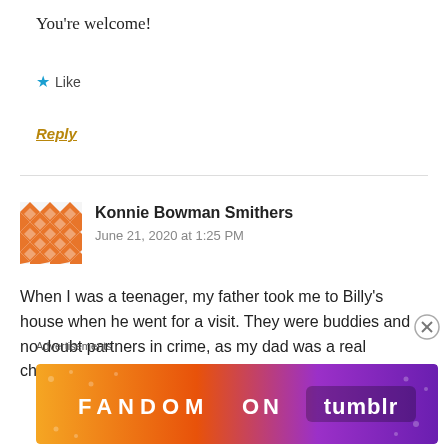You're welcome!
★ Like
Reply
Konnie Bowman Smithers
June 21, 2020 at 1:25 PM
When I was a teenager, my father took me to Billy's house when he went for a visit. They were buddies and no doubt partners in crime, as my dad was a real character, charter
Advertisements
[Figure (infographic): FANDOM ON tumblr advertisement banner with colorful orange to purple gradient background and decorative musical/heart icons]